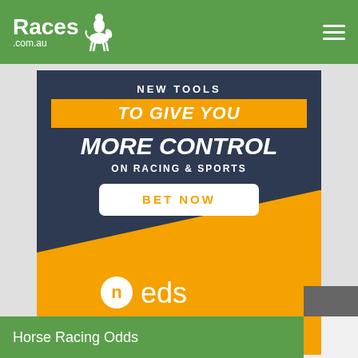[Figure (logo): Races.com.au logo with horse and jockey icon on green header bar]
[Figure (infographic): Neds betting advertisement: dark navy and orange background with text 'NEW TOOLS TO GIVE YOU MORE CONTROL ON RACING & SPORTS' with a 'BET NOW' button and Neds logo. T&Cs apply & available on website. Gamble responsibly. www.gamblinghelponline.org.au. 1800 858 858.]
Horse Racing Odds